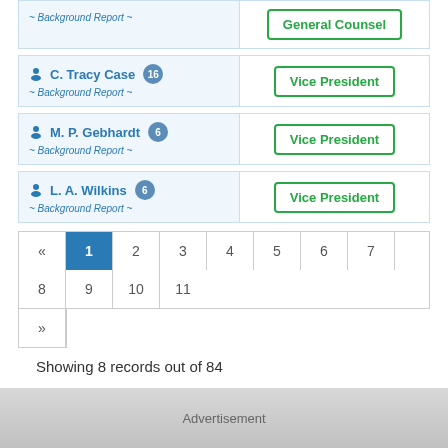~ Background Report ~ | General Counsel
C. Tracy Case 16 | ~ Background Report ~ | Vice President
M. P. Gebhardt 6 | ~ Background Report ~ | Vice President
L. A. Wilkins 6 | ~ Background Report ~ | Vice President
Pagination: « 1 2 3 4 5 6 7 8 9 10 11 »
Showing 8 records out of 84
Advertisement